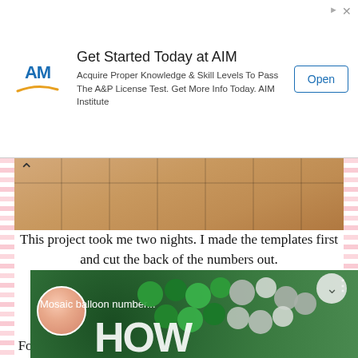[Figure (other): AIM Institute advertisement banner. Logo on left (AM with swoosh), headline 'Get Started Today at AIM', body text 'Acquire Proper Knowledge & Skill Levels To Pass The A&P License Test. Get More Info Today. AIM Institute', Open button on right. Ad markers top-right corner.]
[Figure (photo): Photo of tile floor, cropped, with up-arrow navigation icon on left side.]
This project took me two nights. I made the templates first and cut the back of the numbers out. The next night (day before his birthday) I attached the sides on the numbers and filled with balloons.
For best results, I would recommend attaching the balloons the day of or the day before.
VIDEO TUTORIAL
[Figure (screenshot): Video thumbnail showing 'Mosaic balloon number...' with green and grey balloons and large text 'HOW' visible. Profile circle image of person on left. Three-dot menu icon top right.]